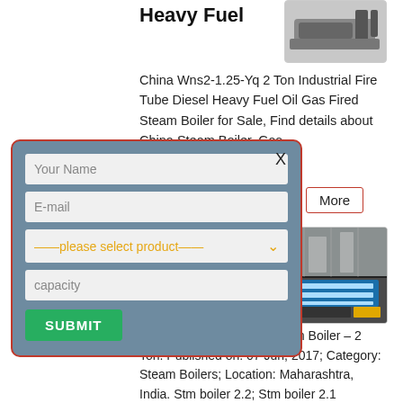Heavy Fuel
[Figure (photo): Industrial fire tube boiler product photo, top right]
China Wns2-1.25-Yq 2 Ton Industrial Fire Tube Diesel Heavy Fuel Oil Gas Fired Steam Boiler for Sale, Find details about China Steam Boiler, Gas
[Figure (screenshot): Contact/inquiry modal form with fields: Your Name, E-mail, please select product dropdown, capacity, and SUBMIT button. Has X close button. Overlaid on page with red border and teal/blue-gray background.]
More
[Figure (photo): Industrial machinery photo showing blue CNC or fabrication machine in a factory setting]
Machine Id-0000566 – Steam Boiler – 2 Ton. Published on: 07 Jun, 2017; Category: Steam Boilers; Location: Maharashtra, India. Stm boiler 2.2; Stm boiler 2.1